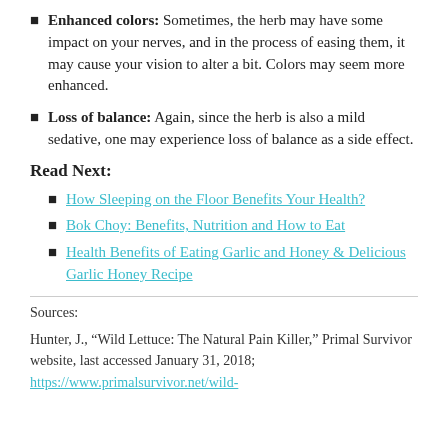Enhanced colors: Sometimes, the herb may have some impact on your nerves, and in the process of easing them, it may cause your vision to alter a bit. Colors may seem more enhanced.
Loss of balance: Again, since the herb is also a mild sedative, one may experience loss of balance as a side effect.
Read Next:
How Sleeping on the Floor Benefits Your Health?
Bok Choy: Benefits, Nutrition and How to Eat
Health Benefits of Eating Garlic and Honey & Delicious Garlic Honey Recipe
Sources:
Hunter, J., “Wild Lettuce: The Natural Pain Killer,” Primal Survivor website, last accessed January 31, 2018; https://www.primalsurvivor.net/wild-